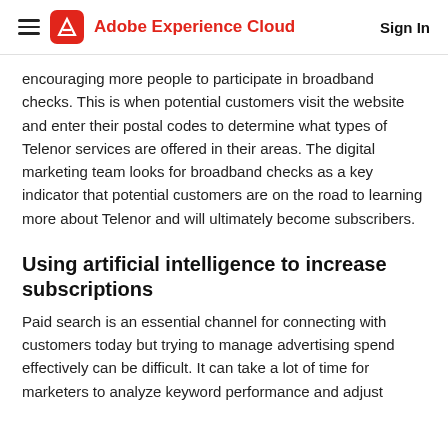Adobe Experience Cloud   Sign In
encouraging more people to participate in broadband checks. This is when potential customers visit the website and enter their postal codes to determine what types of Telenor services are offered in their areas. The digital marketing team looks for broadband checks as a key indicator that potential customers are on the road to learning more about Telenor and will ultimately become subscribers.
Using artificial intelligence to increase subscriptions
Paid search is an essential channel for connecting with customers today but trying to manage advertising spend effectively can be difficult. It can take a lot of time for marketers to analyze keyword performance and adjust